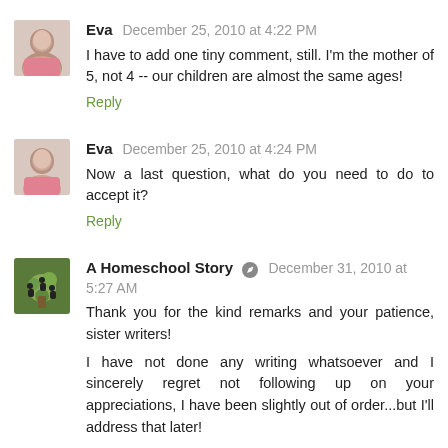Eva December 25, 2010 at 4:22 PM — I have to add one tiny comment, still. I'm the mother of 5, not 4 -- our children are almost the same ages! Reply
Eva December 25, 2010 at 4:24 PM — Now a last question, what do you need to do to accept it? Reply
A Homeschool Story December 31, 2010 at 5:27 AM — Thank you for the kind remarks and your patience, sister writers! I have not done any writing whatsoever and I sincerely regret not following up on your appreciations, I have been slightly out of order...but I'll address that later! It means so much to me to see that you all responded.